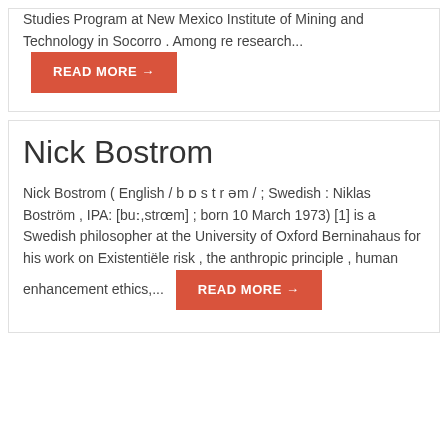Studies Program at New Mexico Institute of Mining and Technology in Socorro . Among re research...
Nick Bostrom
Nick Bostrom ( English / b ɒ s t r əm / ; Swedish : Niklas Boström , IPA: [buː,strœm] ; born 10 March 1973) [1] is a Swedish philosopher at the University of Oxford Berninahaus for his work on Existentiële risk , the anthropic principle , human enhancement ethics,...